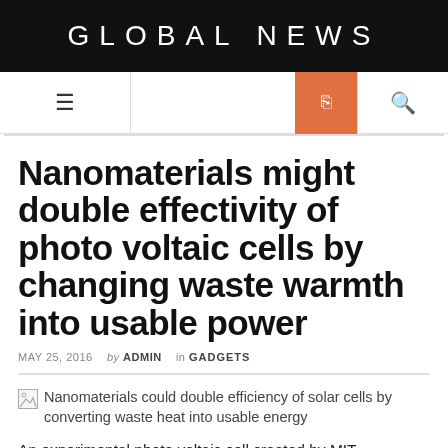GLOBAL NEWS
Nanomaterials might double effectivity of photo voltaic cells by changing waste warmth into usable power
MAY 25, 2016  by ADMIN  in GADGETS
Nanomaterials could double efficiency of solar cells by converting waste heat into usable energy
An experimental photo voltaic cell created by MIT researchers might massively improve the quantity of energy generated by